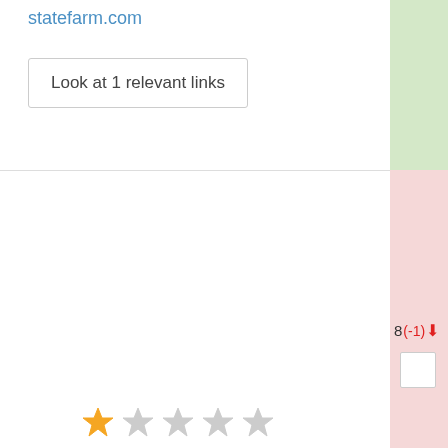statefarm.com
Look at 1 relevant links
[Figure (other): Star rating row showing 1 filled orange star and 4 empty gray stars]
8(-1)↓